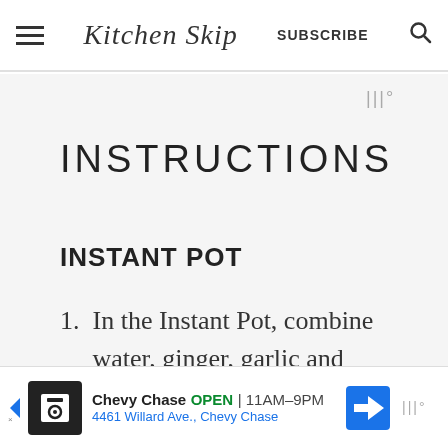Kitchen Skip  SUBSCRIBE
INSTRUCTIONS
INSTANT POT
1. In the Instant Pot, combine water, ginger, garlic and
Chevy Chase  OPEN  11AM–9PM  4461 Willard Ave., Chevy Chase